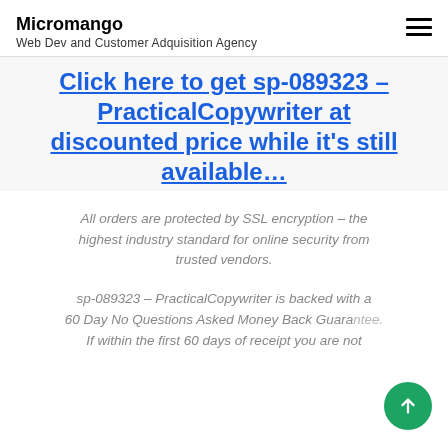Micromango
Web Dev and Customer Adquisition Agency
Click here to get sp-089323 – PracticalCopywriter at discounted price while it's still available…
All orders are protected by SSL encryption – the highest industry standard for online security from trusted vendors.
sp-089323 – PracticalCopywriter is backed with a 60 Day No Questions Asked Money Back Guarantee. If within the first 60 days of receipt you are not